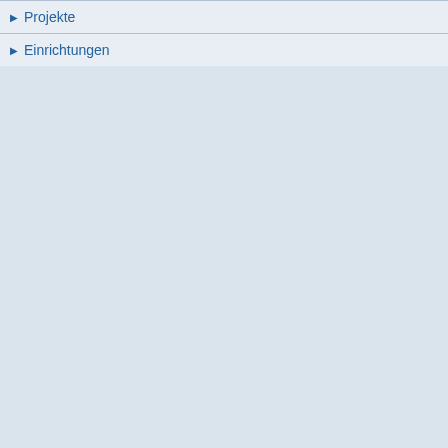Projekte
Einrichtungen
diss-20150327-1207217-0-0
Letzte Änderung: 30.07.2015
[Figure (illustration): BibTeX file icon with bib label]
BibTeX
Versionen ▶
Vorkommen:
mediaTUM Gesamtbestand → Elektronische Prüfungsarbeiten → Fachgebiet → Maschinenbau
mediaTUM Gesamtbestand → Hochschulbibliografie → 2015 → Fakultäten → Maschinenwesen → Lehrstuhl für Energiesysteme (Prof.